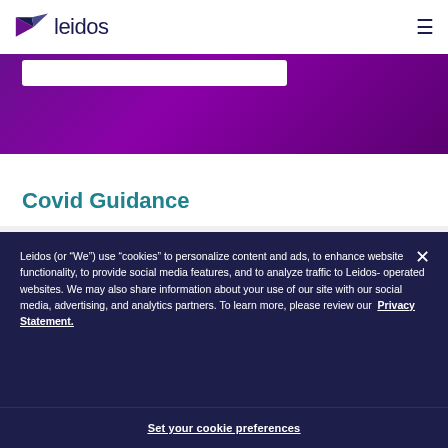[Figure (logo): Leidos company logo with purple arrow/triangle icon and dark navy 'leidos' wordmark]
[Figure (screenshot): Purple gradient banner with white search/input bar overlay at top]
Covid Guidance
Leidos (or “We”) use “cookies” to personalize content and ads, to enhance website functionality, to provide social media features, and to analyze traffic to Leidos-operated websites. We may also share information about your use of our site with our social media, advertising, and analytics partners. To learn more, please review our Privacy Statement.
Set your cookie preferences